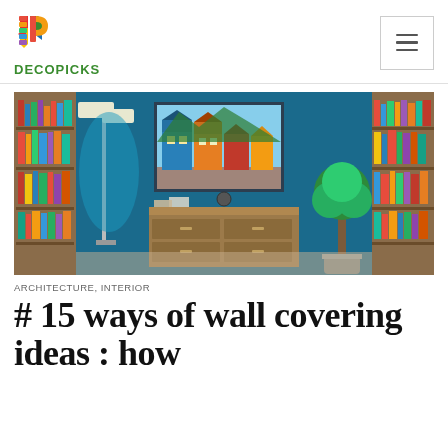DECOPICKS
[Figure (photo): Interior room with deep blue walls, two tall wooden bookshelves on either side, a floor lamp with two shades, a wooden dresser/cabinet in the center, a framed artwork of colorful European houses on the wall, and a topiary tree in a pot on the right.]
ARCHITECTURE, INTERIOR
# 15 ways of wall covering ideas : how